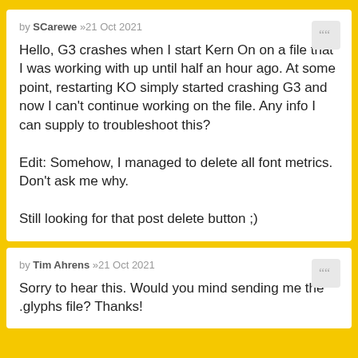by SCarewe »21 Oct 2021
Hello, G3 crashes when I start Kern On on a file that I was working with up until half an hour ago. At some point, restarting KO simply started crashing G3 and now I can't continue working on the file. Any info I can supply to troubleshoot this?

Edit: Somehow, I managed to delete all font metrics. Don't ask me why.

Still looking for that post delete button ;)
by Tim Ahrens »21 Oct 2021
Sorry to hear this. Would you mind sending me the .glyphs file? Thanks!